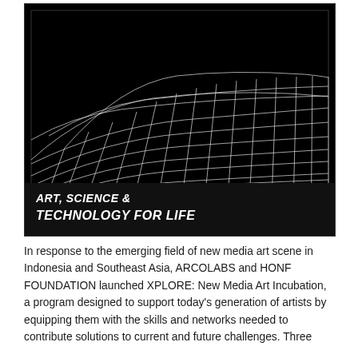[Figure (illustration): Black background with a white wireframe 3D wave/grid mesh surface rendered in perspective, resembling a digital landscape. Below the grid image, on a dark background, text reads: ART, SCIENCE & TECHNOLOGY FOR LIFE in white bold italic letters.]
In response to the emerging field of new media art scene in Indonesia and Southeast Asia, ARCOLABS and HONF FOUNDATION launched XPLORE: New Media Art Incubation, a program designed to support today's generation of artists by equipping them with the skills and networks needed to contribute solutions to current and future challenges. Three